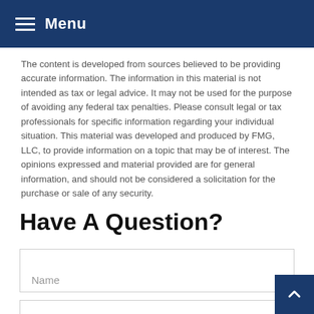Menu
The content is developed from sources believed to be providing accurate information. The information in this material is not intended as tax or legal advice. It may not be used for the purpose of avoiding any federal tax penalties. Please consult legal or tax professionals for specific information regarding your individual situation. This material was developed and produced by FMG, LLC, to provide information on a topic that may be of interest. The opinions expressed and material provided are for general information, and should not be considered a solicitation for the purchase or sale of any security.
Have A Question?
Name
Email